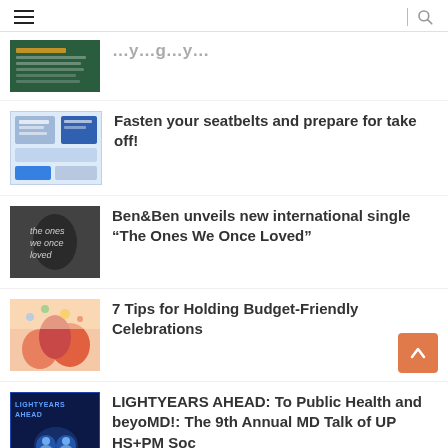≡  | 🔍
Fasten your seatbelts and prepare for take off!
Ben&Ben unveils new international single “The Ones We Once Loved”
7 Tips for Holding Budget-Friendly Celebrations
LIGHTYEARS AHEAD: To Public Health and beyoMD!: The 9th Annual MD Talk of UP HS+PM Soc